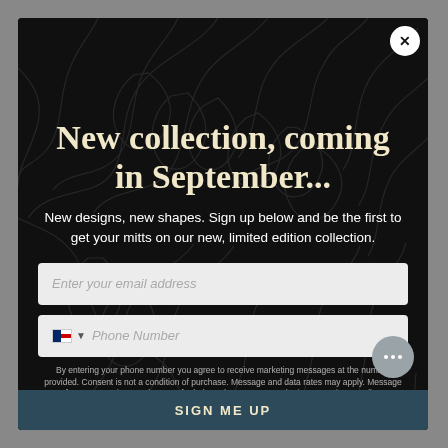[Figure (screenshot): Dark modal popup with decorative dragon/bird line art background pattern on black]
New collection, coming in September...
New designs, new shapes. Sign up below and be the first to get your mitts on our new, limited edition collection.
Enter your email address
Phone Number
By entering your phone number you agree to receive marketing messages at the number provided. Consent is not a condition of purchase. Message and data rates may apply. Message frequency varies. Reply HELP for help and STOP to cancel. View our Privacy Policy
SIGN ME UP